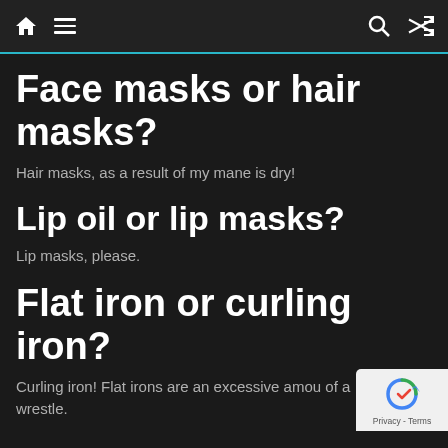home / menu / search / shuffle navigation bar
Face masks or hair masks?
Hair masks, as a result of my mane is dry!
Lip oil or lip masks?
Lip masks, please.
Flat iron or curling iron?
Curling iron! Flat irons are an excessive amou of a wrestle.
[Figure (logo): reCAPTCHA badge with recycling arrow icon and Privacy - Terms text]